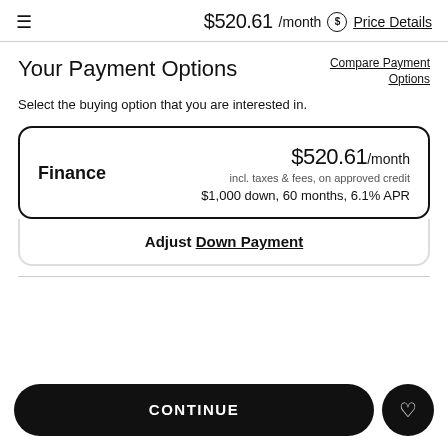$520.61 /month  Price Details
Your Payment Options
Compare Payment Options
Select the buying option that you are interested in.
Finance  $520.61/month  incl. taxes & fees, on approved credit  $1,000 down, 60 months, 6.1% APR
Adjust Down Payment
CONTINUE